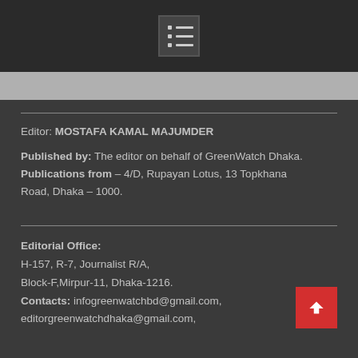[Figure (other): Menu/list icon button in dark gray square]
Editor: MOSTAFA KAMAL MAJUMDER
Published by: The editor on behalf of GreenWatch Dhaka. Publications from – 4/D, Rupayan Lotus, 13 Topkhana Road, Dhaka – 1000.
Editorial Office:
H-157, R-7, Journalist R/A,
Block-F,Mirpur-11, Dhaka-1216.
Contacts: infogreenwatchbd@gmail.com,
editorgreenwatchdhaka@gmail.com,